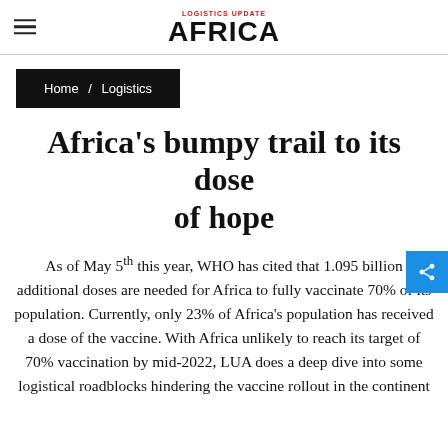LOGISTICS UPDATE AFRICA
Home / Logistics
Africa's bumpy trail to its dose of hope
As of May 5th this year, WHO has cited that 1.095 billion additional doses are needed for Africa to fully vaccinate 70% of its population. Currently, only 23% of Africa's population has received a dose of the vaccine. With Africa unlikely to reach its target of 70% vaccination by mid-2022, LUA does a deep dive into some logistical roadblocks hindering the vaccine rollout in the continent